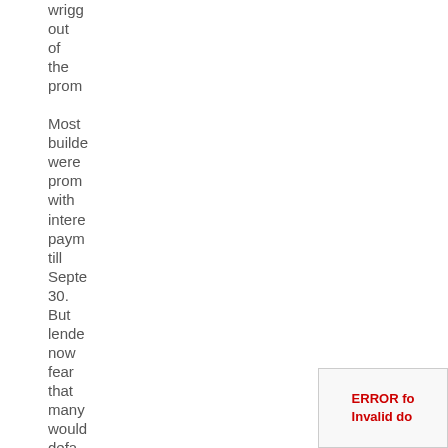wrigg out of the prom Most builde were prom with intere paym till Septe 30. But lende now fear that many would defa in the Dece
ERROR fo Invalid do